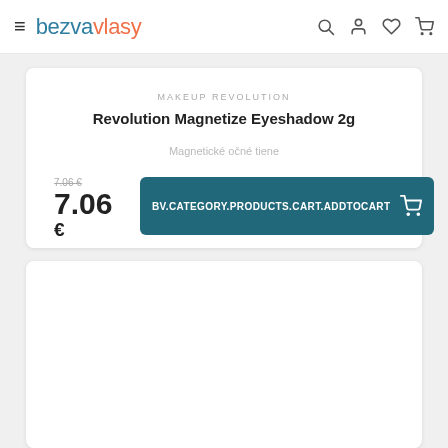bezvavlasy
MAKEUP REVOLUTION
Revolution Magnetize Eyeshadow 2g
Magnetické očné tiene
7.06 € (strikethrough) / 7.06 €
BV.CATEGORY.PRODUCTS.CART.ADDTOCART